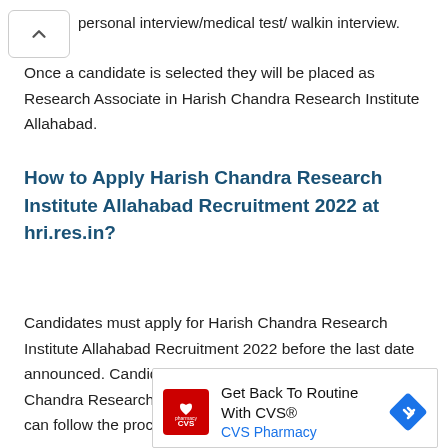personal interview/medical test/ walkin interview.
Once a candidate is selected they will be placed as Research Associate in Harish Chandra Research Institute Allahabad.
How to Apply Harish Chandra Research Institute Allahabad Recruitment 2022 at hri.res.in?
Candidates must apply for Harish Chandra Research Institute Allahabad Recruitment 2022 before the last date announced. Candidates, who apply for the Harish Chandra Research Institute Allahabad Recruitment 2022, can follow the procedure given to apply.
[Figure (other): CVS Pharmacy advertisement: Get Back To Routine With CVS®]